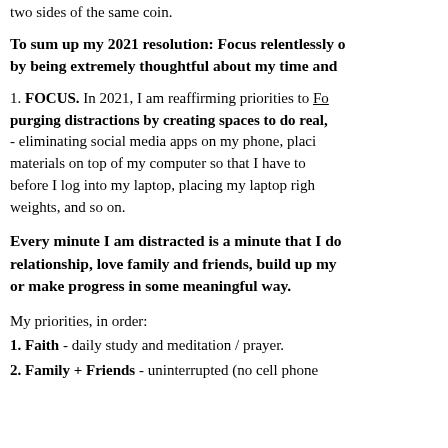two sides of the same coin.
To sum up my 2021 resolution: Focus relentlessly on what matters by being extremely thoughtful about my time and
1. FOCUS. In 2021, I am reaffirming priorities to Fo... purging distractions by creating spaces to do real, - eliminating social media apps on my phone, placing materials on top of my computer so that I have to before I log into my laptop, placing my laptop righ weights, and so on.
Every minute I am distracted is a minute that I do not nurture my relationship, love family and friends, build up my [something], or make progress in some meaningful way.
My priorities, in order:
1. Faith - daily study and meditation / prayer.
2. Family + Friends - uninterrupted (no cell phone